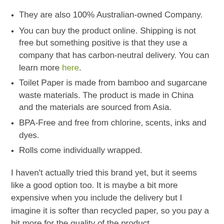They are also 100% Australian-owned Company.
You can buy the product online. Shipping is not free but something positive is that they use a company that has carbon-neutral delivery. You can learn more here.
Toilet Paper is made from bamboo and sugarcane waste materials. The product is made in China and the materials are sourced from Asia.
BPA-Free and free from chlorine, scents, inks and dyes.
Rolls come individually wrapped.
I haven't actually tried this brand yet, but it seems like a good option too. It is maybe a bit more expensive when you include the delivery but I imagine it is softer than recycled paper, so you pay a bit more for the quality of the product.